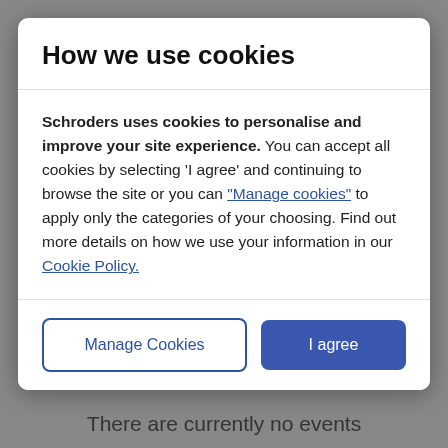How we use cookies
Schroders uses cookies to personalise and improve your site experience. You can accept all cookies by selecting 'I agree' and continuing to browse the site or you can "Manage cookies" to apply only the categories of your choosing. Find out more details on how we use your information in our Cookie Policy.
There are currently no events